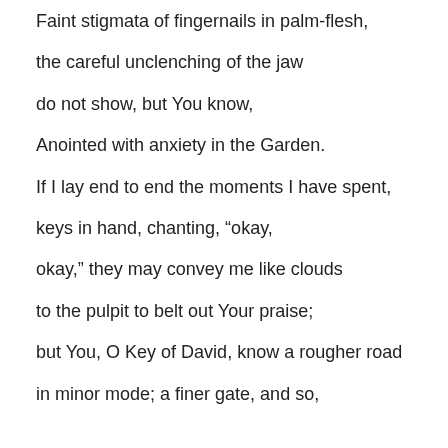Faint stigmata of fingernails in palm-flesh,
the careful unclenching of the jaw
do not show, but You know,
Anointed with anxiety in the Garden.
If I lay end to end the moments I have spent,
keys in hand, chanting, “okay,
okay,” they may convey me like clouds
to the pulpit to belt out Your praise;
but You, O Key of David, know a rougher road
in minor mode; a finer gate, and so,